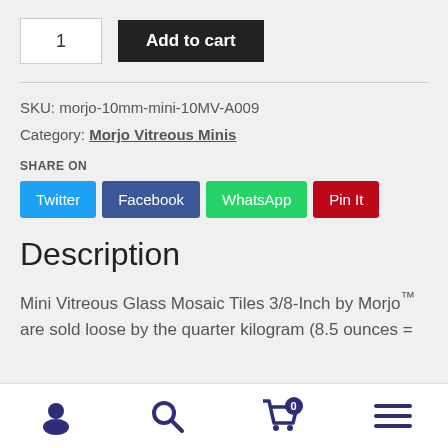1
Add to cart
SKU: morjo-10mm-mini-10MV-A009
Category: Morjo Vitreous Minis
SHARE ON
Twitter
Facebook
WhatsApp
Pin It
Description
Mini Vitreous Glass Mosaic Tiles 3/8-Inch by Morjo™ are sold loose by the quarter kilogram (8.5 ounces =
Account | Search | Cart 0 | Menu